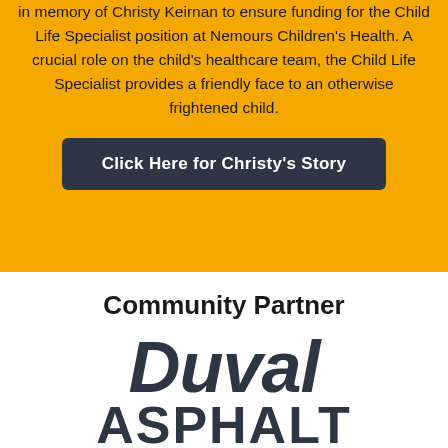in memory of Christy Keirnan to ensure funding for the Child Life Specialist position at Nemours Children's Health. A crucial role on the child's healthcare team, the Child Life Specialist provides a friendly face to an otherwise frightened child.
Click Here for Christy's Story
Community Partner
[Figure (logo): Duval Asphalt logo in large bold italic dark navy text]